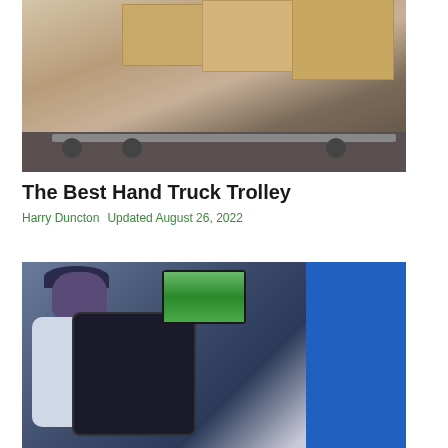[Figure (photo): Photo of cardboard boxes stacked on a hand truck trolley on a dark floor in a warehouse setting]
The Best Hand Truck Trolley
Harry Duncton   Updated August 26, 2022
[Figure (photo): Photo of a person wearing a powered exoskeleton backpack device with a digital screen display, in an industrial warehouse setting with blue shelving]